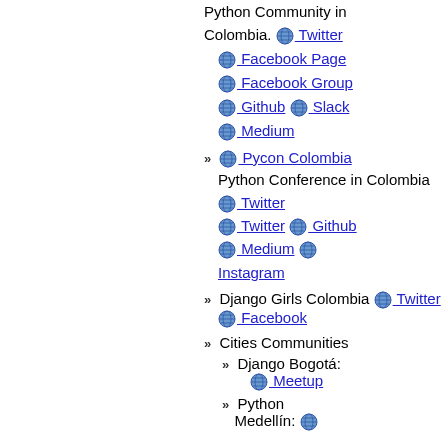Python Community in Colombia. Twitter Facebook Page Facebook Group Github Slack Medium
Pycon Colombia - Python Conference in Colombia Twitter Twitter Github Medium Instagram
Django Girls Colombia Twitter Facebook
Cities Communities
Django Bogotá: Meetup
Python Medellín: